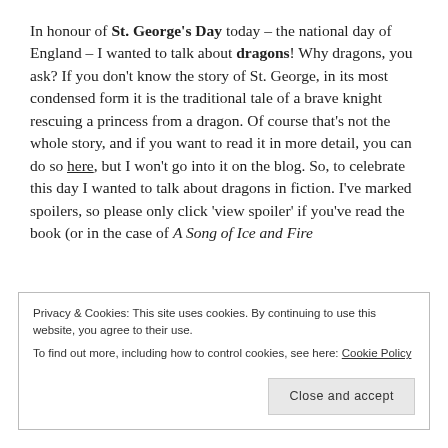In honour of St. George's Day today – the national day of England – I wanted to talk about dragons! Why dragons, you ask? If you don't know the story of St. George, in its most condensed form it is the traditional tale of a brave knight rescuing a princess from a dragon. Of course that's not the whole story, and if you want to read it in more detail, you can do so here, but I won't go into it on the blog. So, to celebrate this day I wanted to talk about dragons in fiction. I've marked spoilers, so please only click 'view spoiler' if you've read the book (or in the case of A Song of Ice and Fire
Privacy & Cookies: This site uses cookies. By continuing to use this website, you agree to their use.
To find out more, including how to control cookies, see here: Cookie Policy
Close and accept